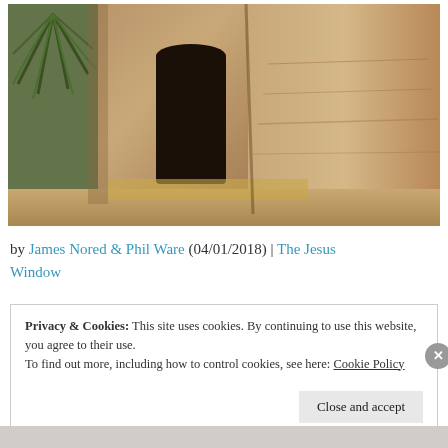[Figure (photo): A rock-cut tomb entrance carved into sandy limestone cliffs, with palm fronds visible on the left and an open dark doorway in the center. The scene appears to be in a Middle Eastern desert setting.]
by James Nored & Phil Ware (04/01/2018) | The Jesus Window
Privacy & Cookies: This site uses cookies. By continuing to use this website, you agree to their use.
To find out more, including how to control cookies, see here: Cookie Policy
Close and accept